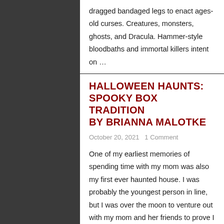dragged bandaged legs to enact ages-old curses. Creatures, monsters, ghosts, and Dracula. Hammer-style bloodbaths and immortal killers intent on …
HALLOWEEN HAUNTS: SPOOKY BOX TRADITION BY BRIANNA MALOTKE
October 20, 2021   1 Comment
One of my earliest memories of spending time with my mom was also my first ever haunted house. I was probably the youngest person in line, but I was over the moon to venture out with my mom and her friends to prove I was fearless. I had made it all the way through the line, even with some very animated characters, creepy light effects and bloodcurdling screams coming from within the